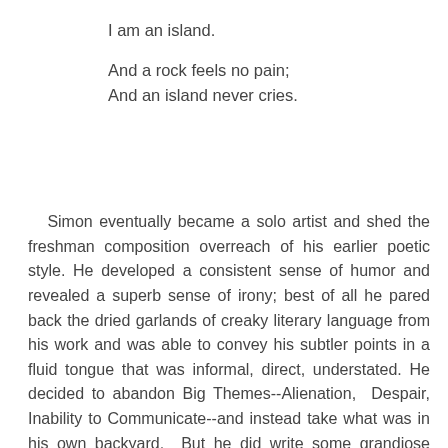I am an island.

And a rock feels no pain;
And an island never cries.
Simon eventually became a solo artist and shed the freshman composition overreach of his earlier poetic style. He developed a consistent sense of humor and revealed a superb sense of irony; best of all he pared back the dried garlands of creaky literary language from his work and was able to convey his subtler points in a fluid tongue that was informal, direct, understated. He decided to abandon Big Themes--Alienation, Despair, Inability to Communicate--and instead take what was in his own backyard. But he did write some grandiose statements while he was a serious younger man who hadn't yet learned to live life like it were a loose suit. Everything was so damned important, so damned serious. How serious he considered it seems nearly comical in retrospect.His desire to be a rock was the extrapolated angst of a teenager who had been hurt in love and is aghast